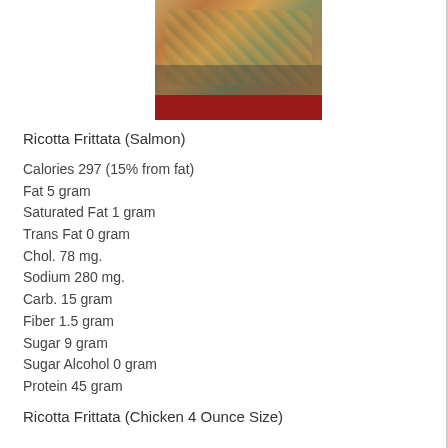[Figure (photo): Photo of Ricotta Frittata (Salmon) — a baked egg dish with orange-golden cheesy top, served on a dark plate, with a dark red/maroon banner below the photo]
Ricotta Frittata (Salmon)
Calories 297 (15% from fat)
Fat 5 gram
Saturated Fat 1 gram
Trans Fat 0 gram
Chol. 78 mg.
Sodium 280 mg.
Carb. 15 gram
Fiber 1.5 gram
Sugar 9 gram
Sugar Alcohol 0 gram
Protein 45 gram
Ricotta Frittata (Chicken 4 Ounce Size)